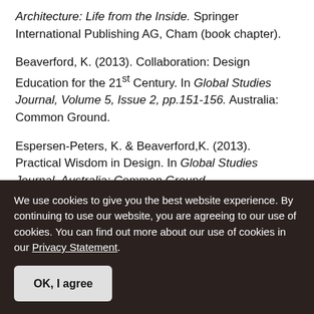Architecture: Life from the Inside. Springer International Publishing AG, Cham (book chapter).
Beaverford, K. (2013). Collaboration: Design Education for the 21st Century. In Global Studies Journal, Volume 5, Issue 2, pp.151-156. Australia: Common Ground.
Espersen-Peters, K. & Beaverford,K. (2013). Practical Wisdom in Design. In Global Studies Journal, Australia: Common Ground.
Beaverford, K. (2012). Beyond eco-efficiency. In
We use cookies to give you the best website experience. By continuing to use our website, you are agreeing to our use of cookies. You can find out more about our use of cookies in our Privacy Statement.